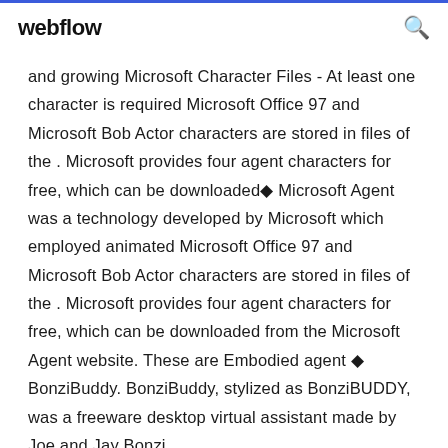webflow
and growing Microsoft Character Files - At least one character is required Microsoft Office 97 and Microsoft Bob Actor characters are stored in files of the . Microsoft provides four agent characters for free, which can be downloaded◆ Microsoft Agent was a technology developed by Microsoft which employed animated Microsoft Office 97 and Microsoft Bob Actor characters are stored in files of the . Microsoft provides four agent characters for free, which can be downloaded from the Microsoft Agent website. These are Embodied agent ◆ BonziBuddy. BonziBuddy, stylized as BonziBUDDY, was a freeware desktop virtual assistant made by Joe and Jay Bonzi